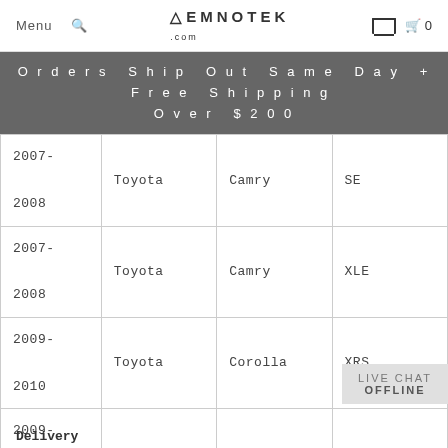Menu  [search]  EMNOTEK  [store icon]  0
Orders Ship Out Same Day + Free Shipping Over $200
| Year | Make | Model | Trim |
| --- | --- | --- | --- |
| 2007-2008 | Toyota | Camry | SE |
| 2007-2008 | Toyota | Camry | XLE |
| 2009-2010 | Toyota | Corolla | XRS |
| 2009-2013 | Toyota | Matrix | S |
| 2009-2010 | Toyota | Matrix | XRS |
LIVE CHAT OFFLINE
Delivery